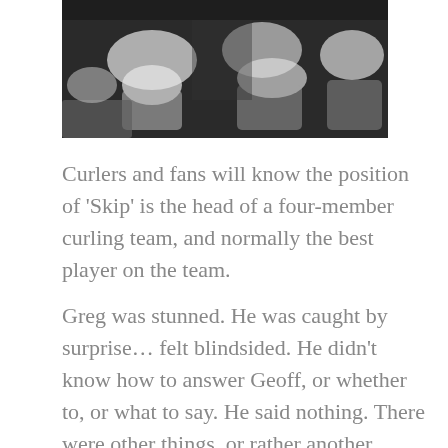[Figure (photo): Black and white photograph of people seated, viewed from above or behind, in what appears to be a curling venue or meeting room setting.]
Curlers and fans will know the position of ‘Skip’ is the head of a four-member curling team, and normally the best player on the team.
Greg was stunned. He was caught by surprise… felt blindsided. He didn’t know how to answer Geoff, or whether to, or what to say. He said nothing. There were other things, or rather another person, preoccupying